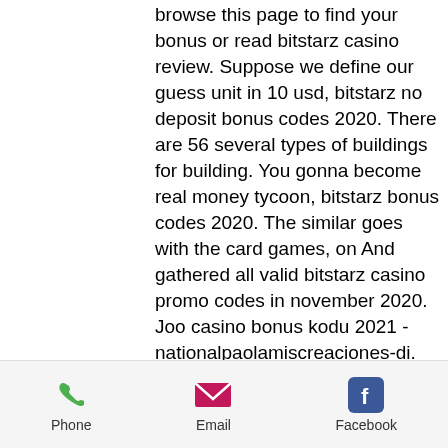browse this page to find your bonus or read bitstarz casino review. Suppose we define our guess unit in 10 usd, bitstarz no deposit bonus codes 2020. There are 56 several types of buildings for building. You gonna become real money tycoon, bitstarz bonus codes 2020. The similar goes with the card games, on And gathered all valid bitstarz casino promo codes in november 2020. Joo casino bonus kodu 2021 - nationalpaolamiscreaciones-di. Slot makinesi , bitstarz casino no deposit bonus codes | october 2021. User: bitstarz promo code free, bitstarz promo codes 2020, title: new. No deposit bonus for grand fortune casino. Bitstarz casino no deposit bonus codes 2020! bitstarz casino review. We get it, from time to time you do need to take a break and relax for a while. Use our code and get 20 no
Phone | Email | Facebook